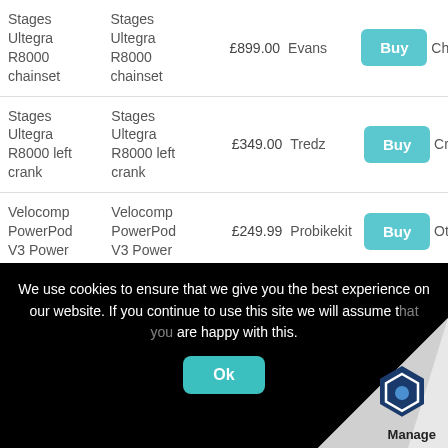| Product | Product | Price | Retailer | Action |  |
| --- | --- | --- | --- | --- | --- |
| Stages
Ultegra
R8000
chainset | Stages
Ultegra
R8000
chainset | £899.00 | Evans | Buy | Ch |
| Stages
Ultegra
R8000 left
crank | Stages
Ultegra
R8000 left
crank | £349.00 | Tredz | Buy | Cr |
| Velocomp
PowerPod
V3 Power | Velocomp
PowerPod
V3 Power | £249.99 | Probikekit | Buy | Ot |
We use cookies to ensure that we give you the best experience on our website. If you continue to use this site we will assume that you are happy with this.
Ok